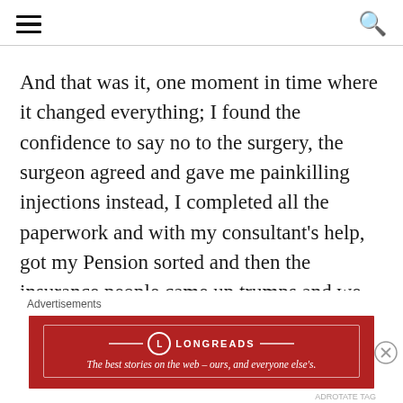[hamburger menu icon] [search icon]
And that was it, one moment in time where it changed everything; I found the confidence to say no to the surgery, the surgeon agreed and gave me painkilling injections instead, I completed all the paperwork and with my consultant’s help, got my Pension sorted and then the insurance people came up trumps and we kept the house.
Advertisements
[Figure (other): Longreads advertisement banner with red background. Logo circle with L, brand name LONGREADS, tagline: The best stories on the web – ours, and everyone else’s.]